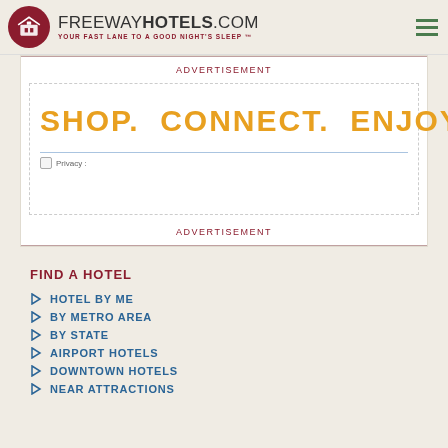FREEWAYHOTELS.COM — YOUR FAST LANE TO A GOOD NIGHT'S SLEEP ™
ADVERTISEMENT
[Figure (infographic): Advertisement banner with text: SHOP. CONNECT. ENJOY. in large orange bold letters, with a Privacy label at bottom.]
ADVERTISEMENT
FIND A HOTEL
HOTEL BY ME
BY METRO AREA
BY STATE
AIRPORT HOTELS
DOWNTOWN HOTELS
NEAR ATTRACTIONS